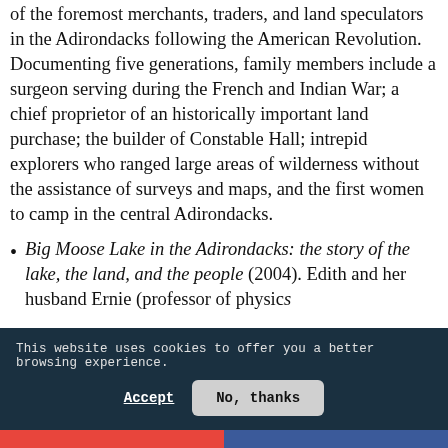of the foremost merchants, traders, and land speculators in the Adirondacks following the American Revolution. Documenting five generations, family members include a surgeon serving during the French and Indian War; a chief proprietor of an historically important land purchase; the builder of Constable Hall; intrepid explorers who ranged large areas of wilderness without the assistance of surveys and maps, and the first women to camp in the central Adirondacks.
Big Moose Lake in the Adirondacks: the story of the lake, the land, and the people (2004). Edith and her husband Ernie (professor of physics...
This website uses cookies to offer you a better browsing experience.